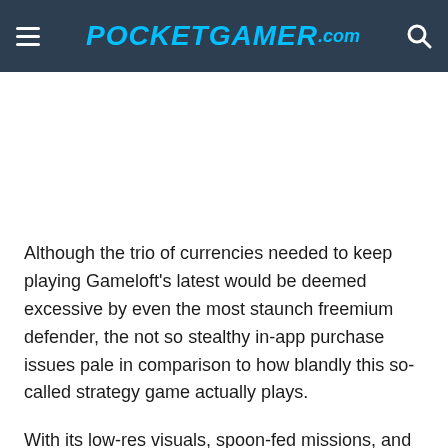≡ POCKETGAMER.com 🔍
[Figure (other): Blank white space / advertisement area below header]
Although the trio of currencies needed to keep playing Gameloft's latest would be deemed excessive by even the most staunch freemium defender, the not so stealthy in-app purchase issues pale in comparison to how blandly this so-called strategy game actually plays.
With its low-res visuals, spoon-fed missions, and toothless tactical combat, you'd have more fun on a package tour of